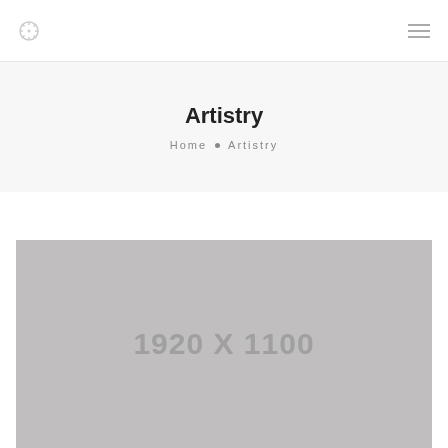Navigation bar with logo and hamburger menu
Artistry
Home • Artistry
[Figure (other): Placeholder image block showing dimensions 1920 X 1100 in gray]